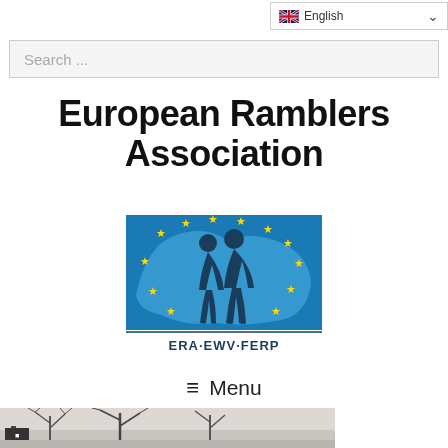English (language selector)
Search ...
European Ramblers Association
[Figure (logo): ERA-EWV-FERP logo: two silhouetted walkers on a blue background with yellow EU stars and a map outline. Text below reads ERA·EWV·FERP]
≡ Menu
[Figure (photo): Bottom strip showing a winter landscape with bare trees and a sign, partially visible]